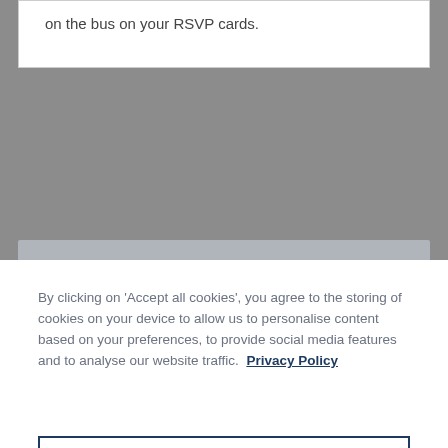on the bus on your RSVP cards.
By clicking on 'Accept all cookies', you agree to the storing of cookies on your device to allow us to personalise content based on your preferences, to provide social media features and to analyse our website traffic. Privacy Policy
Cookies Settings
Reject All
Accept All Cookies